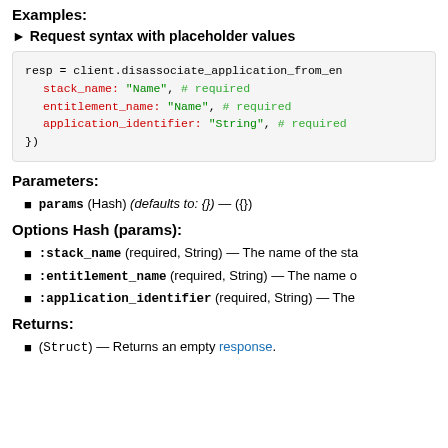Examples:
► Request syntax with placeholder values
[Figure (screenshot): Code block showing Ruby syntax: resp = client.disassociate_application_from_en... with stack_name: "Name", # required, entitlement_name: "Name", # required, application_identifier: "String", # required, })]
Parameters:
params (Hash) (defaults to: {}) — ({})
Options Hash (params):
:stack_name (required, String) — The name of the sta
:entitlement_name (required, String) — The name o
:application_identifier (required, String) — The
Returns:
(Struct) — Returns an empty response.